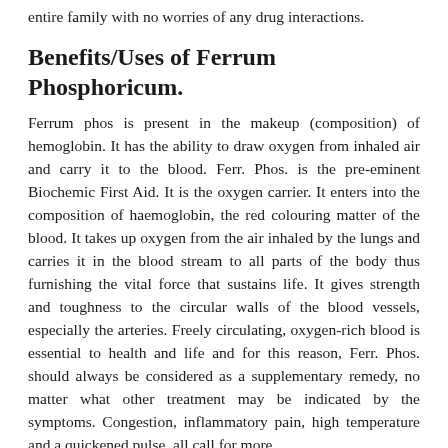entire family with no worries of any drug interactions.
Benefits/Uses of Ferrum Phosphoricum.
Ferrum phos is present in the makeup (composition) of hemoglobin. It has the ability to draw oxygen from inhaled air and carry it to the blood. Ferr. Phos. is the pre-eminent Biochemic First Aid. It is the oxygen carrier. It enters into the composition of haemoglobin, the red colouring matter of the blood. It takes up oxygen from the air inhaled by the lungs and carries it in the blood stream to all parts of the body thus furnishing the vital force that sustains life. It gives strength and toughness to the circular walls of the blood vessels, especially the arteries. Freely circulating, oxygen-rich blood is essential to health and life and for this reason, Ferr. Phos. should always be considered as a supplementary remedy, no matter what other treatment may be indicated by the symptoms. Congestion, inflammatory pain, high temperature and a quickened pulse, all call for more